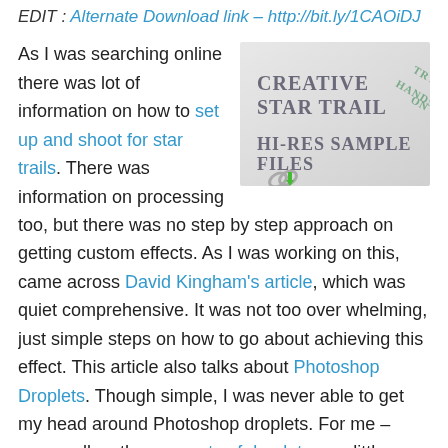EDIT : Alternate Download link – http://bit.ly/1CAOiDJ
[Figure (illustration): Creative Star Trail Hi-Res Sample Files download image with a link/chain icon and green arrow, text says 'Try! Hands On' in top right corner]
As I was searching online there was lot of information on how to set up and shoot for star trails. There was information on processing too, but there was no step by step approach on getting custom effects. As I was working on this, came across David Kingham's article, which was quiet comprehensive. It was not too over whelming, just simple steps on how to go about achieving this effect. This article also talks about Photoshop Droplets. Though simple, I was never able to get my head around Photoshop droplets. For me – personally – the concepts of droplets was little contrived.  Even if you find it simple and manage to load